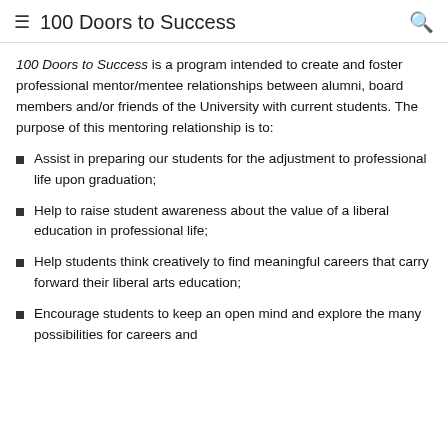100 Doors to Success
100 Doors to Success is a program intended to create and foster professional mentor/mentee relationships between alumni, board members and/or friends of the University with current students. The purpose of this mentoring relationship is to:
Assist in preparing our students for the adjustment to professional life upon graduation;
Help to raise student awareness about the value of a liberal education in professional life;
Help students think creatively to find meaningful careers that carry forward their liberal arts education;
Encourage students to keep an open mind and explore the many possibilities for careers and